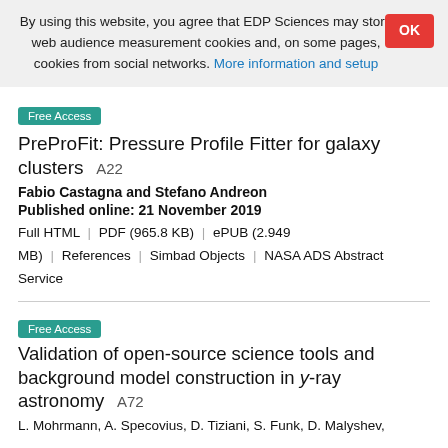By using this website, you agree that EDP Sciences may store web audience measurement cookies and, on some pages, cookies from social networks. More information and setup
OK
Free Access
PreProFit: Pressure Profile Fitter for galaxy clusters A22
Fabio Castagna and Stefano Andreon
Published online: 21 November 2019
Full HTML | PDF (965.8 KB) | ePUB (2.949 MB) | References | Simbad Objects | NASA ADS Abstract Service
Free Access
Validation of open-source science tools and background model construction in y-ray astronomy A72
L. Mohrmann, A. Specovius, D. Tiziani, S. Funk, D. Malyshev,